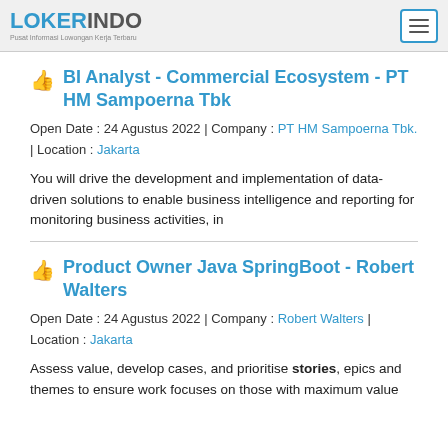LOKERINDO - Pusat Informasi Lowongan Kerja Terbaru
BI Analyst - Commercial Ecosystem - PT HM Sampoerna Tbk
Open Date : 24 Agustus 2022 | Company : PT HM Sampoerna Tbk. | Location : Jakarta
You will drive the development and implementation of data-driven solutions to enable business intelligence and reporting for monitoring business activities, in
Product Owner Java SpringBoot - Robert Walters
Open Date : 24 Agustus 2022 | Company : Robert Walters | Location : Jakarta
Assess value, develop cases, and prioritise stories, epics and themes to ensure work focuses on those with maximum value